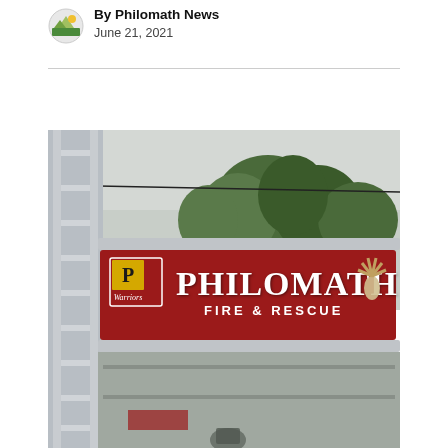By Philomath News
June 21, 2021
[Figure (photo): Close-up photo of a Philomath Fire & Rescue fire truck ladder, showing a red banner sign with the text 'PHILOMATH FIRE & RESCUE' in white letters, a yellow 'P Warriors' badge on the left, and a Native American warrior headdress silhouette on the right. Silver ladder rails are visible around the sign. Green trees and overcast sky are in the background.]